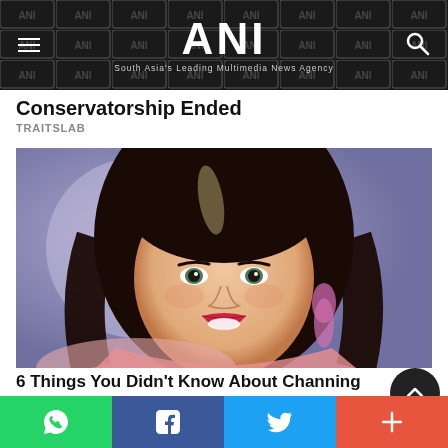ANI — South Asia's Leading Multimedia News Agency
Conservatorship Ended
TRAITSLAB
[Figure (photo): Close-up portrait of a woman with long dark wavy hair, green eyes, and red lipstick, wearing pink sparkle earrings, smiling at camera against a blurred purple background]
6 Things You Didn't Know About Channing
Social share bar: WhatsApp, Facebook, Twitter, More